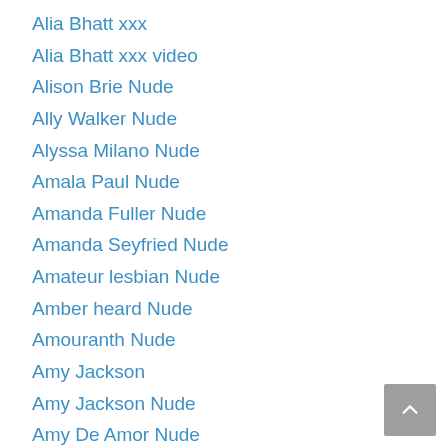Alia Bhatt xxx
Alia Bhatt xxx video
Alison Brie Nude
Ally Walker Nude
Alyssa Milano Nude
Amala Paul Nude
Amanda Fuller Nude
Amanda Seyfried Nude
Amateur lesbian Nude
Amber heard Nude
Amouranth Nude
Amy Jackson
Amy Jackson Nude
Amy De Amor Nude